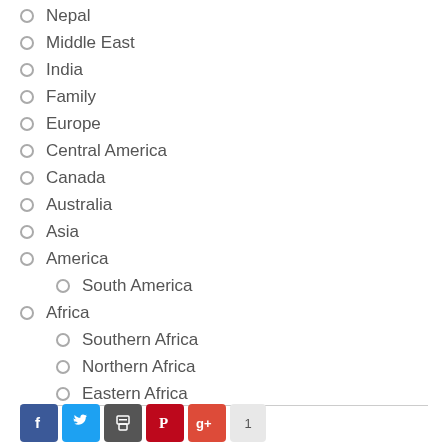Nepal
Middle East
India
Family
Europe
Central America
Canada
Australia
Asia
America
South America
Africa
Southern Africa
Northern Africa
Eastern Africa